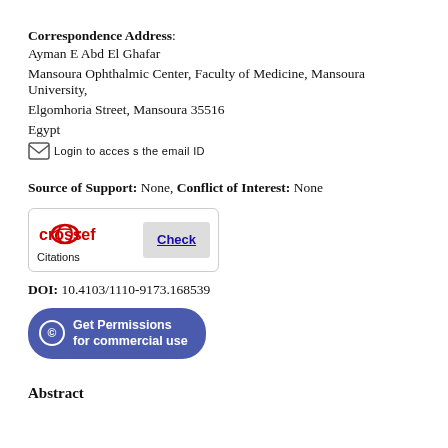Correspondence Address: Ayman E Abd El Ghafar
Mansoura Ophthalmic Center, Faculty of Medicine, Mansoura University,
Elgomhoria Street, Mansoura 35516
Egypt
[Login to access the email ID]
Source of Support: None, Conflict of Interest: None
[Figure (logo): Crossref Citations Check button logo]
DOI: 10.4103/1110-9173.168539
[Figure (other): Get Permissions for commercial use button]
Abstract